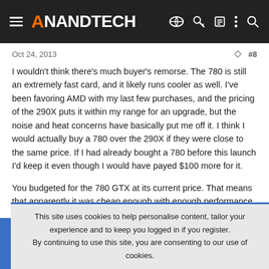AnandTech
Oct 24, 2013  #8
I wouldn't think there's much buyer's remorse. The 780 is still an extremely fast card, and it likely runs cooler as well. I've been favoring AMD with my last few purchases, and the pricing of the 290X puts it within my range for an upgrade, but the noise and heat concerns have basically put me off it. I think I would actually buy a 780 over the 290X if they were close to the same price. If I had already bought a 780 before this launch I'd keep it even though I would have payed $100 more for it.
You budgeted for the 780 GTX at its current price. That means that apparently it was cheap enough with enough performance for you then. It's performance hasn't changed just because something else
This site uses cookies to help personalise content, tailor your experience and to keep you logged in if you register.
By continuing to use this site, you are consenting to our use of cookies.